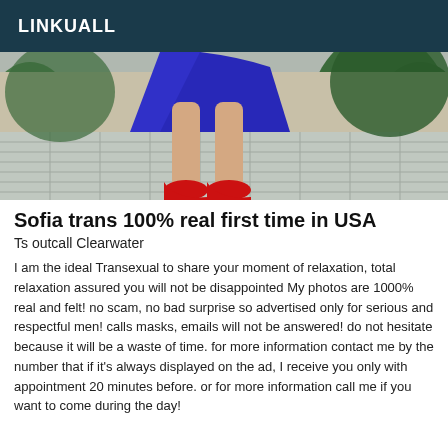LINKUALL
[Figure (photo): Photo showing legs in a blue dress and red high heels standing on a tiled outdoor walkway with greenery in background]
Sofia trans 100% real first time in USA
Ts outcall Clearwater
I am the ideal Transexual to share your moment of relaxation, total relaxation assured you will not be disappointed My photos are 1000% real and felt! no scam, no bad surprise so advertised only for serious and respectful men! calls masks, emails will not be answered! do not hesitate because it will be a waste of time. for more information contact me by the number that if it's always displayed on the ad, I receive you only with appointment 20 minutes before. or for more information call me if you want to come during the day!